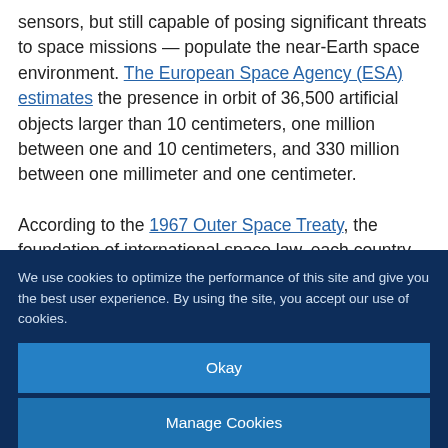sensors, but still capable of posing significant threats to space missions — populate the near-Earth space environment. The European Space Agency (ESA) estimates the presence in orbit of 36,500 artificial objects larger than 10 centimeters, one million between one and 10 centimeters, and 330 million between one millimeter and one centimeter. According to the 1967 Outer Space Treaty, the foundation of international space law, each country remains the owner of any object launched
We use cookies to optimize the performance of this site and give you the best user experience. By using the site, you accept our use of cookies.
Okay
Manage Cookies